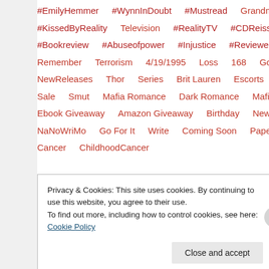#EmilyHemmer  #WynnInDoubt  #Mustread  Grandma  #...
#KissedByReality  Television  #RealityTV  #CDReiss  #...
#Bookreview  #Abuseofpower  #Injustice  #Reviewer  #...
Remember  Terrorism  4/19/1995  Loss  168  Governm...
NewReleases  Thor  Series  Brit Lauren  Escorts  Kade...
Sale  Smut  Mafia Romance  Dark Romance  Mafia  A...
Ebook Giveaway  Amazon Giveaway  Birthday  New Autho...
NaNoWriMo  Go For It  Write  Coming Soon  Paperback...
Cancer  ChildhoodCancer
Privacy & Cookies: This site uses cookies. By continuing to use this website, you agree to their use.
To find out more, including how to control cookies, see here: Cookie Policy
Close and accept